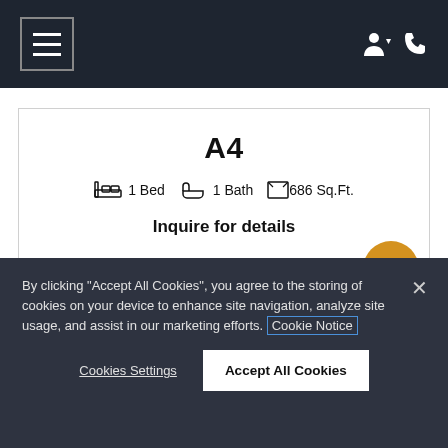Navigation bar with hamburger menu and user/phone icons
A4
1 Bed   1 Bath   686 Sq.Ft.
Inquire for details
By clicking "Accept All Cookies", you agree to the storing of cookies on your device to enhance site navigation, analyze site usage, and assist in our marketing efforts. Cookie Notice
Cookies Settings
Accept All Cookies